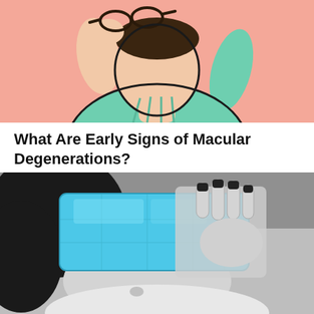[Figure (illustration): Illustration of a person holding glasses up to their face, wearing a green top, on a pink/salmon background - related to macular degeneration ad]
What Are Early Signs of Macular Degenerations?
Macular Degeneration | Search Ads | Sponsored
[Figure (photo): Black and white photo of a woman lying down holding a blue gel ice pack over her eyes/face with one hand, dark nail polish, white top]